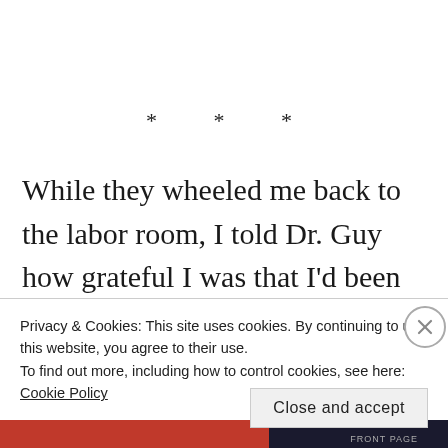* * *
While they wheeled me back to the labor room, I told Dr. Guy how grateful I was that I'd been allowed to do this.  He'd forgotten my age.  Amy stayed for a little while but needed to go before
Privacy & Cookies: This site uses cookies. By continuing to use this website, you agree to their use.
To find out more, including how to control cookies, see here: Cookie Policy
Close and accept